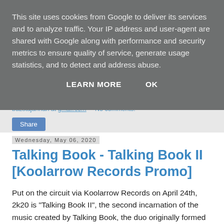This site uses cookies from Google to deliver its services and to analyze traffic. Your IP address and user-agent are shared with Google along with performance and security metrics to ensure quality of service, generate usage statistics, and to detect and address abuse.
LEARN MORE    OK
No comments:
Share
Wednesday, May 06, 2020
Talking Book - Talking Book II [Koolarrow Records Promo]
Put on the circuit via Koolarrow Records on April 24th, 2k20 is "Talking Book II", the second incarnation of the music created by Talking Book, the duo originally formed by sound artist Jared Blum and Faith No More bass player Bill Gould which has now evolved into a trio with Dominic Cramp as new additional member. Nine years after the groups first